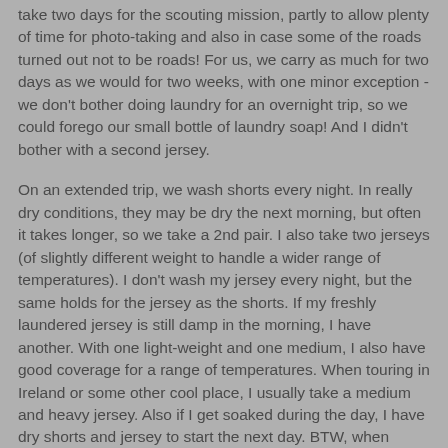take two days for the scouting mission, partly to allow plenty of time for photo-taking and also in case some of the roads turned out not to be roads! For us, we carry as much for two days as we would for two weeks, with one minor exception - we don't bother doing laundry for an overnight trip, so we could forego our small bottle of laundry soap! And I didn't bother with a second jersey.
On an extended trip, we wash shorts every night. In really dry conditions, they may be dry the next morning, but often it takes longer, so we take a 2nd pair. I also take two jerseys (of slightly different weight to handle a wider range of temperatures). I don't wash my jersey every night, but the same holds for the jersey as the shorts. If my freshly laundered jersey is still damp in the morning, I have another. With one light-weight and one medium, I also have good coverage for a range of temperatures. When touring in Ireland or some other cool place, I usually take a medium and heavy jersey. Also if I get soaked during the day, I have dry shorts and jersey to start the next day. BTW, when washing clothes in the room, one tip for drying quickly is to use a towel to wring out excess moisture.